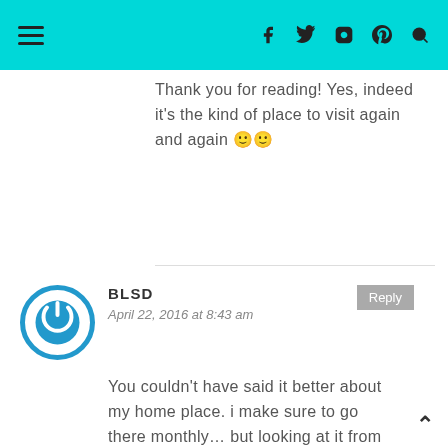Navigation header with hamburger menu and social icons (facebook, twitter, instagram, pinterest, search)
Thank you for reading! Yes, indeed it's the kind of place to visit again and again 🙂🙂
BLSD
April 22, 2016 at 8:43 am
You couldn't have said it better about my home place. i make sure to go there monthly... but looking at it from a fresh